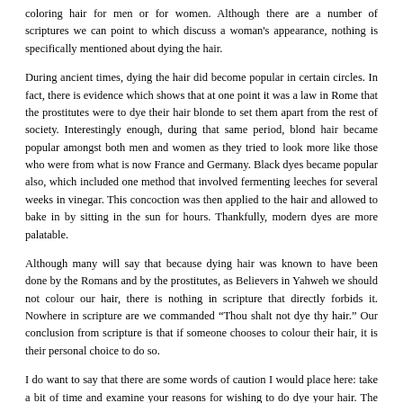coloring hair for men or for women. Although there are a number of scriptures we can point to which discuss a woman's appearance, nothing is specifically mentioned about dying the hair.
During ancient times, dying the hair did become popular in certain circles. In fact, there is evidence which shows that at one point it was a law in Rome that the prostitutes were to dye their hair blonde to set them apart from the rest of society. Interestingly enough, during that same period, blond hair became popular amongst both men and women as they tried to look more like those who were from what is now France and Germany. Black dyes became popular also, which included one method that involved fermenting leeches for several weeks in vinegar. This concoction was then applied to the hair and allowed to bake in by sitting in the sun for hours. Thankfully, modern dyes are more palatable.
Although many will say that because dying hair was known to have been done by the Romans and by the prostitutes, as Believers in Yahweh we should not colour our hair, there is nothing in scripture that directly forbids it. Nowhere in scripture are we commanded “Thou shalt not dye thy hair.” Our conclusion from scripture is that if someone chooses to colour their hair, it is their personal choice to do so.
I do want to say that there are some words of caution I would place here: take a bit of time and examine your reasons for wishing to do dye your hair. The reason I ask you to do this is simply because you will likely, at some point, be